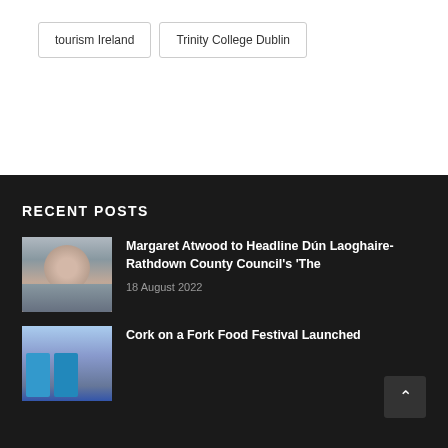tourism Ireland
Trinity College Dublin
RECENT POSTS
Margaret Atwood to Headline Dún Laoghaire-Rathdown County Council's 'The
18 August 2022
Cork on a Fork Food Festival Launched